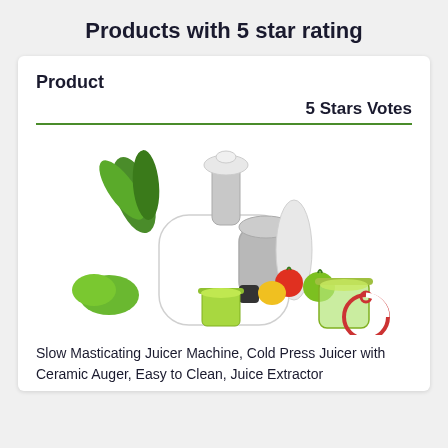Products with 5 star rating
Product
5 Stars Votes
[Figure (photo): A white slow masticating juicer machine with ceramic auger, shown with fruits and vegetables including pineapple, apple, tomato, bell pepper, and leafy greens. Two green cups filled with juice are placed in front.]
Slow Masticating Juicer Machine, Cold Press Juicer with Ceramic Auger, Easy to Clean, Juice Extractor